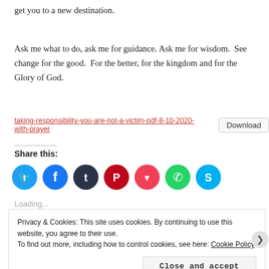get you to a new destination.
Ask me what to do, ask me for guidance. Ask me for wisdom.  See change for the good.  For the better, for the kingdom and for the Glory of God.
taking-responsibility-you-are-not-a-victim-pdf-8-10-2020-with-prayer    Download
Share this:
[Figure (illustration): Social sharing icons row: Twitter (blue), Facebook (blue), Tumblr (dark navy), Pinterest (red), Pocket (pink-red), WhatsApp (green), Skype (light blue)]
Loading...
Privacy & Cookies: This site uses cookies. By continuing to use this website, you agree to their use.
To find out more, including how to control cookies, see here: Cookie Policy
Close and accept